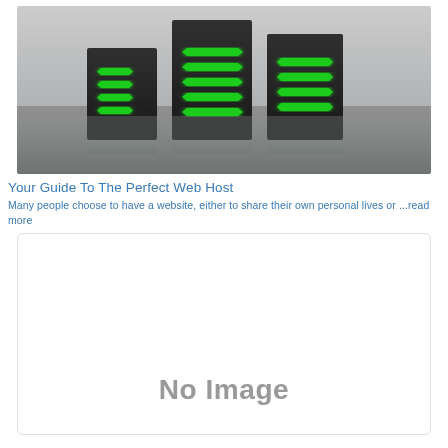[Figure (photo): Three black server towers with green chevron/arrow indicators on a gray metallic reflective surface background]
Your Guide To The Perfect Web Host
Many people choose to have a website, either to share their own personal lives or ...read more
[Figure (other): No Image placeholder box]